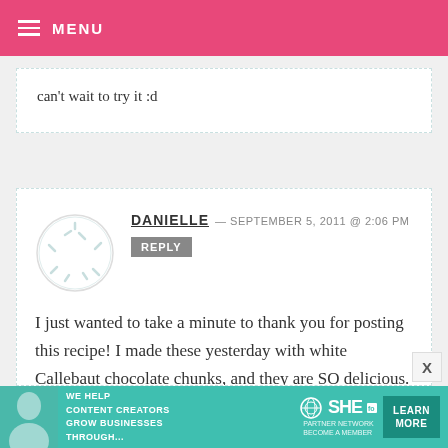MENU
can't wait to try it :d
DANIELLE — SEPTEMBER 5, 2011 @ 2:06 PM
REPLY
I just wanted to take a minute to thank you for posting this recipe! I made these yesterday with white Callebaut chocolate chunks, and they are SO delicious. My husband has already eaten half of them, and normally
[Figure (other): Advertisement banner for SHE Partner Network: 'We help content creators grow businesses through...' with Learn More button]